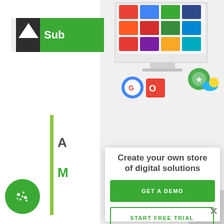[Figure (screenshot): A web page showing a software marketplace/store interface with colorful app icons displayed on a computer monitor, with Google and Microsoft Office logos floating nearby, and product icons on the right side.]
Create your own store of digital solutions
GET A DEMO
START FREE TRIAL